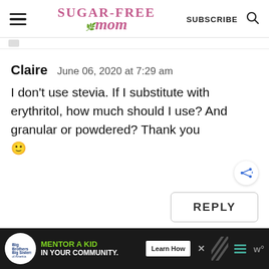Sugar-Free Mom — SUBSCRIBE
Claire   June 06, 2020 at 7:29 am
I don't use stevia. If I substitute with erythritol, how much should I use? And granular or powdered? Thank you 🙂
REPLY
[Figure (infographic): Big Brothers Big Sisters advertisement banner: MENTOR A KID IN YOUR COMMUNITY. Learn How button.]